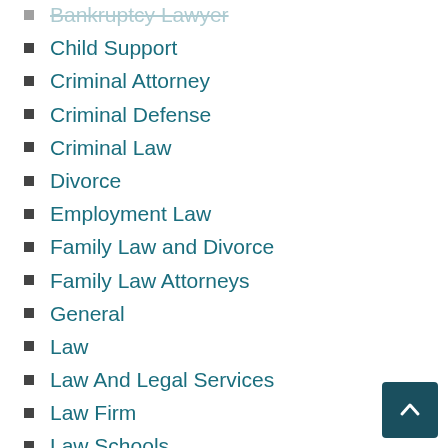Bankruptcy Lawyer
Child Support
Criminal Attorney
Criminal Defense
Criminal Law
Divorce
Employment Law
Family Law and Divorce
Family Law Attorneys
General
Law
Law And Legal Services
Law Firm
Law Schools
Lawyer
Lawyers